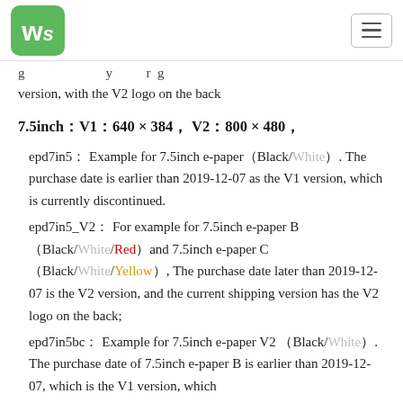Waveshare wiki header with logo and menu
...g ... y ... r g version, with the V2 logo on the back
7.5inch：V1：640 × 384， V2：800 × 480，
epd7in5： Example for 7.5inch e-paper（Black/White）. The purchase date is earlier than 2019-12-07 as the V1 version, which is currently discontinued.
epd7in5_V2： For example for 7.5inch e-paper B （Black/White/Red）and 7.5inch e-paper C （Black/White/Yellow）, The purchase date later than 2019-12-07 is the V2 version, and the current shipping version has the V2 logo on the back;
epd7in5bc： Example for 7.5inch e-paper V2 （Black/White）. The purchase date of 7.5inch e-paper B is earlier than 2019-12-07, which is the V1 version, which